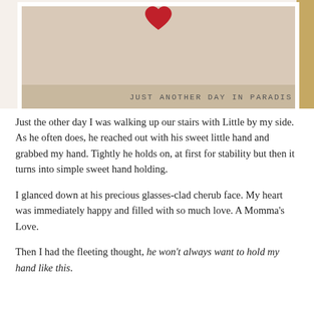[Figure (photo): A framed photo/art piece with a white frame, beige/tan background, a red heart at the top center, and text 'JUST ANOTHER DAY IN PARADIS' visible along the bottom edge of the frame. A warm brown strip is visible on the right side.]
Just the other day I was walking up our stairs with Little by my side. As he often does, he reached out with his sweet little hand and grabbed my hand. Tightly he holds on, at first for stability but then it turns into simple sweet hand holding.
I glanced down at his precious glasses-clad cherub face. My heart was immediately happy and filled with so much love. A Momma's Love.
Then I had the fleeting thought, he won't always want to hold my hand like this.